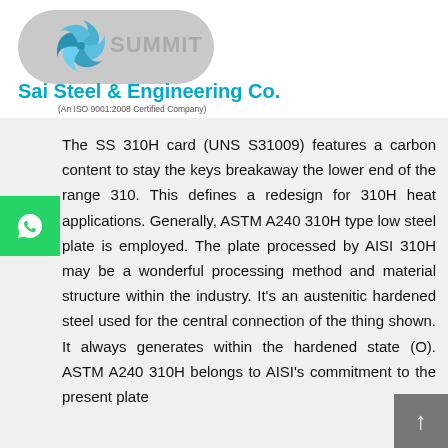[Figure (logo): Summit logo with pinwheel/fan icon inside a gray pill/capsule shape, with text SUMMIT]
Sai Steel & Engineering Co.
(An ISO 9001:2008 Certified Company)
The SS 310H card (UNS S31009) features a carbon content to stay the keys breakaway the lower end of the range 310. This defines a redesign for 310H heat applications. Generally, ASTM A240 310H type low steel plate is employed. The plate processed by AISI 310H may be a wonderful processing method and material structure within the industry. It's an austenitic hardened steel used for the central connection of the thing shown. It always generates within the hardened state (O). ASTM A240 310H belongs to AISI's commitment to the present plate